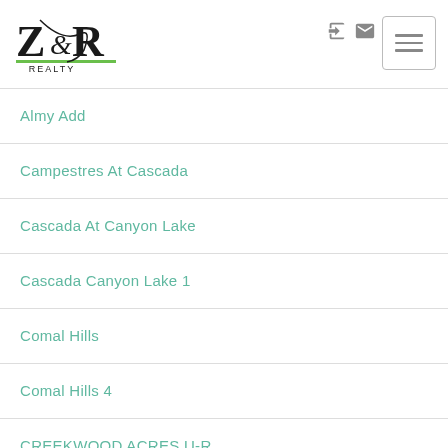Z&R Realty logo with navigation icons and hamburger menu
Almy Add
Campestres At Cascada
Cascada At Canyon Lake
Cascada Canyon Lake 1
Comal Hills
Comal Hills 4
CREEKWOOD ACRES U-R